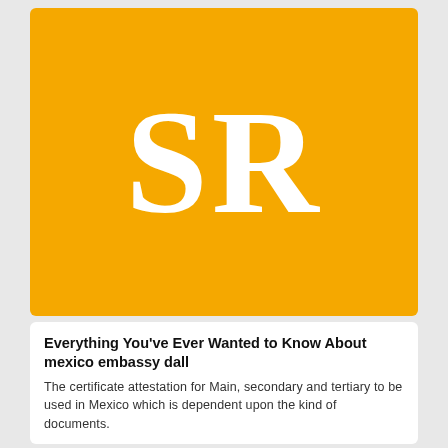[Figure (logo): Orange square logo with large white serif letters 'SR' centered on an orange background]
Everything You've Ever Wanted to Know About mexico embassy dall
The certificate attestation for Main, secondary and tertiary to be used in Mexico which is dependent upon the kind of documents.